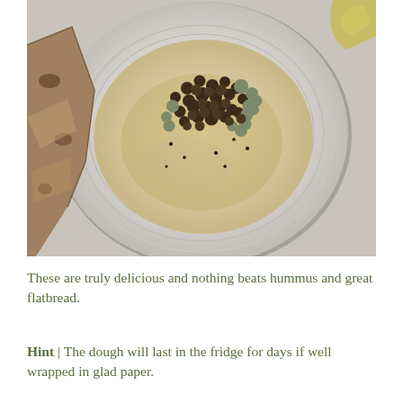[Figure (photo): Overhead view of a bowl of hummus topped with roasted chickpeas and cauliflower, served in a grey ceramic bowl. Pieces of flatbread/pita are visible on the left side of the frame.]
These are truly delicious and nothing beats hummus and great flatbread.
Hint | The dough will last in the fridge for days if well wrapped in glad paper.